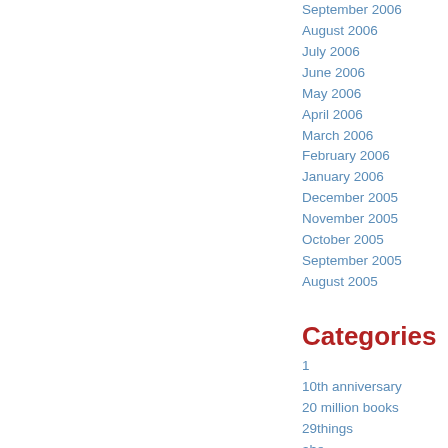September 2006
August 2006
July 2006
June 2006
May 2006
April 2006
March 2006
February 2006
January 2006
December 2005
November 2005
October 2005
September 2005
August 2005
Categories
1
10th anniversary
20 million books
29things
abe
abebooks
academic
adorable
advance screening
affinity percentiles
ALA
AllHallowsThing
allthing
also on